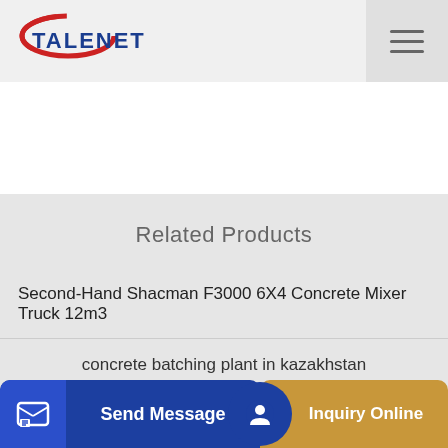TALENET
[Figure (logo): TALENET logo with red swoosh and blue text]
Related Products
Second-Hand Shacman F3000 6X4 Concrete Mixer Truck 12m3
concrete batching plant in kazakhstan
ood qu
Send Message    Inquiry Online